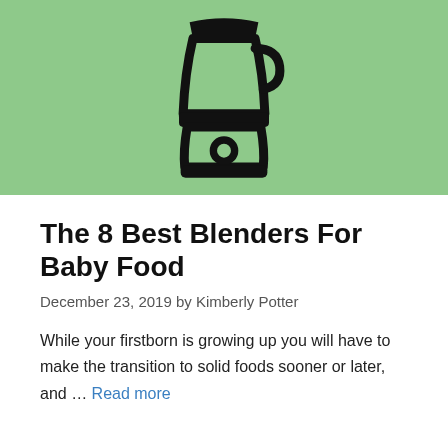[Figure (illustration): A blender icon (outline/silhouette style) on a light green background]
The 8 Best Blenders For Baby Food
December 23, 2019 by Kimberly Potter
While your firstborn is growing up you will have to make the transition to solid foods sooner or later, and … Read more